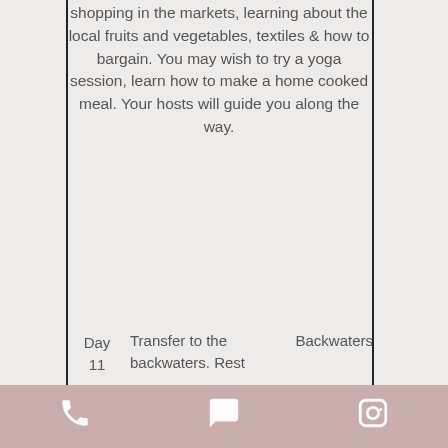shopping in the markets, learning about the local fruits and vegetables, textiles & how to bargain. You may wish to try a yoga session, learn how to make a home cooked meal. Your hosts will guide you along the way.
|  |  |  |
| --- | --- | --- |
| Day 11 | Transfer to the backwaters. Rest | Backwaters |